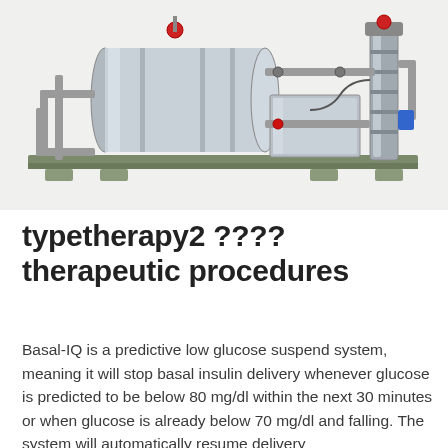[Figure (photo): Industrial water purification or dialysis machine system mounted on a steel frame, with cylindrical filters, pipes, valves, and a vertical pump unit]
typetherapy2 ????therapeutic procedures
Basal-IQ is a predictive low glucose suspend system, meaning it will stop basal insulin delivery whenever glucose is predicted to be below 80 mg/dl within the next 30 minutes or when glucose is already below 70 mg/dl and falling. The system will automatically resume delivery